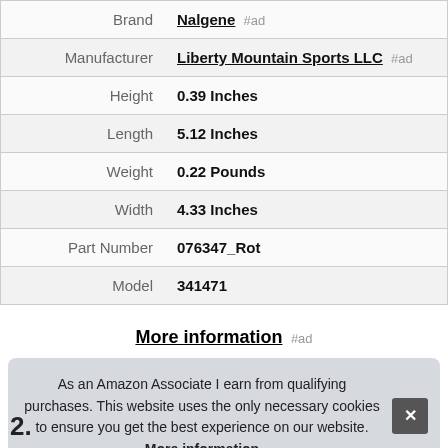| Brand | Nalgene #ad |
| Manufacturer | Liberty Mountain Sports LLC #ad |
| Height | 0.39 Inches |
| Length | 5.12 Inches |
| Weight | 0.22 Pounds |
| Width | 4.33 Inches |
| Part Number | 076347_Rot |
| Model | 341471 |
More information #ad
As an Amazon Associate I earn from qualifying purchases. This website uses the only necessary cookies to ensure you get the best experience on our website. More information